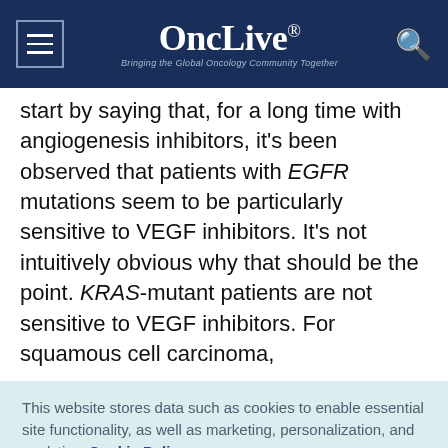OncLive® — Bringing the Global Oncology Community Together
start by saying that, for a long time with angiogenesis inhibitors, it's been observed that patients with EGFR mutations seem to be particularly sensitive to VEGF inhibitors. It's not intuitively obvious why that should be the point. KRAS-mutant patients are not sensitive to VEGF inhibitors. For squamous cell carcinoma,
This website stores data such as cookies to enable essential site functionality, as well as marketing, personalization, and analytics. Cookie Policy
Accept
Deny